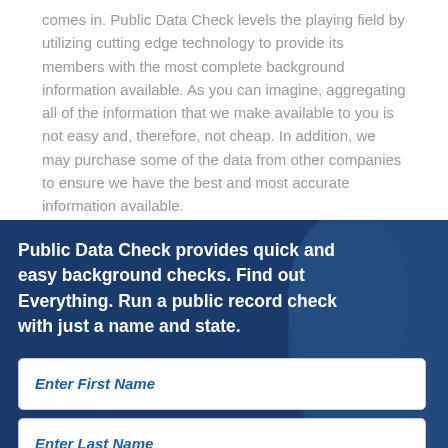comes in. Public Data Check levels the playing field by utilizing cutting edge technology to provide its members with the most complete background information available. As you can imagine, aggregating all of the information that we make available to you is not easy and, therefore, not cheap. In addition, we may purchase some of the data from other companies to ensure we have the best and most accurate information available.
Public Data Check provides quick and easy background checks. Find out Everything. Run a public record check with just a name and state.
Enter First Name
Enter Last Name